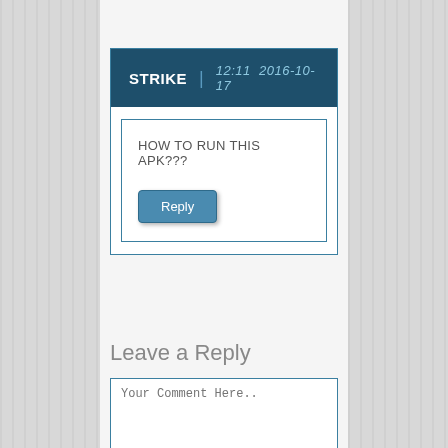STRIKE  |  12:11  2016-10-17
HOW TO RUN THIS APK???
Reply
Leave a Reply
Your Comment Here..